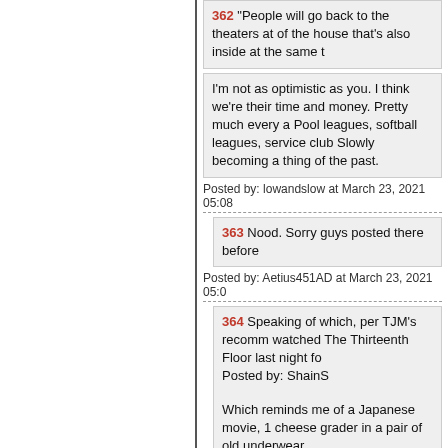362 "People will go back to the theaters at of the house that's also inside at the same t
I'm not as optimistic as you. I think we're their time and money. Pretty much every a Pool leagues, softball leagues, service club Slowly becoming a thing of the past.
Posted by: lowandslow at March 23, 2021 05:08
363 Nood. Sorry guys posted there before
Posted by: Aetius451AD at March 23, 2021 05:0
364 Speaking of which, per TJM's recomm watched The Thirteenth Floor last night fo Posted by: ShainS
Which reminds me of a Japanese movie, 1 cheese grader in a pair of old underwear.
Posted by: humphreyrobot at March 23, 2021 05: